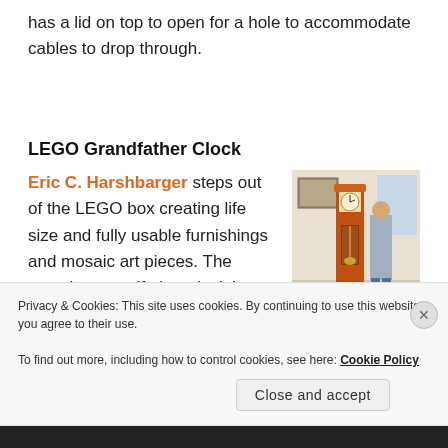has a lid on top to open for a hole to accommodate cables to drop through.
LEGO Grandfather Clock
Eric C. Harshbarger steps out of the LEGO box creating life size and fully usable furnishings and mosaic art pieces. The amazing grandfather clock is set to tell
[Figure (photo): A man standing next to a life-size LEGO grandfather clock in a room]
Privacy & Cookies: This site uses cookies. By continuing to use this website, you agree to their use.
To find out more, including how to control cookies, see here: Cookie Policy
Close and accept